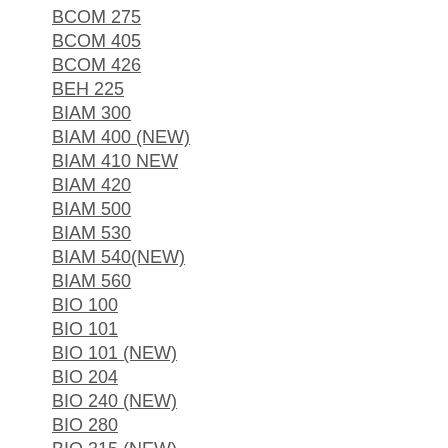BCOM 275
BCOM 405
BCOM 426
BEH 225
BIAM 300
BIAM 400 (NEW)
BIAM 410 NEW
BIAM 420
BIAM 500
BIAM 530
BIAM 540(NEW)
BIAM 560
BIO 100
BIO 101
BIO 101 (NEW)
BIO 204
BIO 240 (NEW)
BIO 280
BIO 315 (NEW)